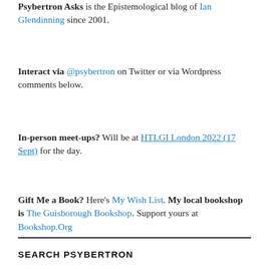Psybertron Asks is the Epistemological blog of Ian Glendinning since 2001.
Interact via @psybertron on Twitter or via Wordpress comments below.
In-person meet-ups? Will be at HTLGI London 2022 (17 Sept) for the day.
Gift Me a Book? Here's My Wish List. My local bookshop is The Guisborough Bookshop. Support yours at Bookshop.Org
SEARCH PSYBERTRON